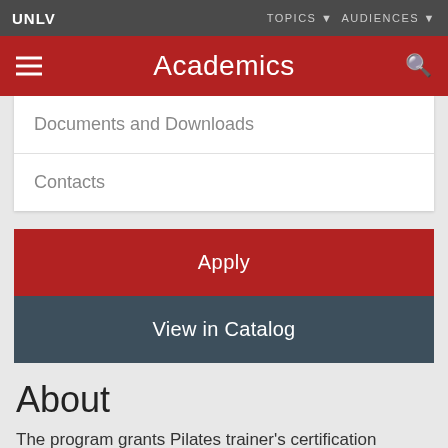UNLV | TOPICS ▼  AUDIENCES ▼
Academics
Documents and Downloads
Contacts
Apply
View in Catalog
About
The program grants Pilates trainer's certification allowing students employment opportunities in the global Pilates field as trainers, teachers, rehabilitation